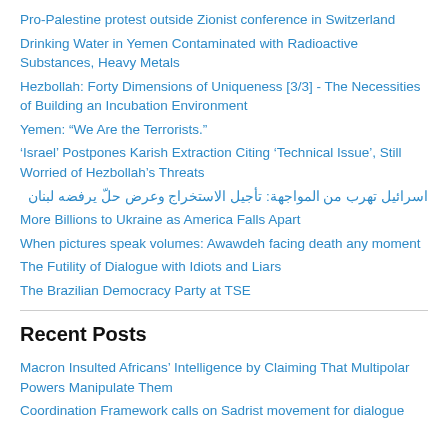Pro-Palestine protest outside Zionist conference in Switzerland
Drinking Water in Yemen Contaminated with Radioactive Substances, Heavy Metals
Hezbollah: Forty Dimensions of Uniqueness [3/3] - The Necessities of Building an Incubation Environment
Yemen: “We Are the Terrorists.”
‘Israel’ Postpones Karish Extraction Citing ‘Technical Issue’, Still Worried of Hezbollah’s Threats
اسرائيل تهرب من المواجهة: تأجيل الاستخراج وعرض حلّ يرفضه لبنان
More Billions to Ukraine as America Falls Apart
When pictures speak volumes: Awawdeh facing death any moment
The Futility of Dialogue with Idiots and Liars
The Brazilian Democracy Party at TSE
Recent Posts
Macron Insulted Africans’ Intelligence by Claiming That Multipolar Powers Manipulate Them
Coordination Framework calls on Sadrist movement for dialogue